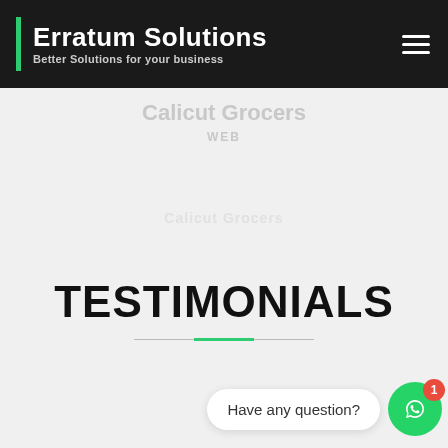Erratum Solutions — Better Solutions for your business
Calicut Grocers
WEB
TESTIMONIALS
Have any question?